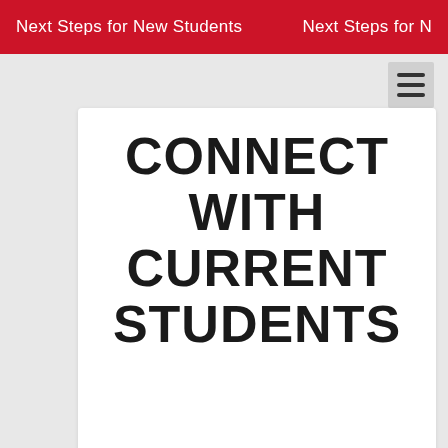Next Steps for New Students   Next Steps for N
CONNECT WITH CURRENT STUDENTS
Create an account and speak with current students through our online chat.
[Figure (other): Accessibility wheelchair icon button, red circular background, bottom-left corner]